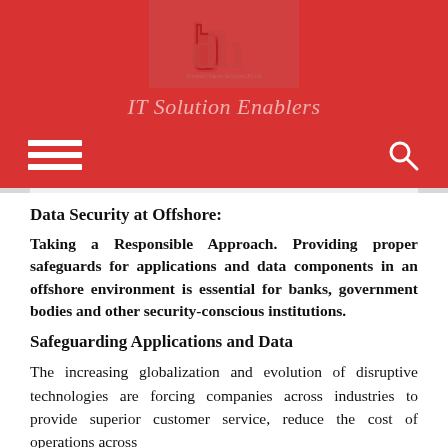[Figure (logo): Company logo with stylized 'dh' letters in red and pink on a lighter red background, with small company name text below]
IT Solution Enablers
[Figure (infographic): Navigation bar with hamburger menu icon on left and search icon on right, on red background]
Data Security at Offshore:
Taking a Responsible Approach. Providing proper safeguards for applications and data components in an offshore environment is essential for banks, government bodies and other security-conscious institutions.
Safeguarding Applications and Data
The increasing globalization and evolution of disruptive technologies are forcing companies across industries to provide superior customer service, reduce the cost of operations across